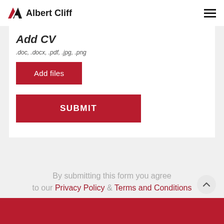Albert Cliff
Add CV
.doc, .docx, .pdf, .jpg, .png
Add files
SUBMIT
By submitting this form you agree to our Privacy Policy & Terms and Conditions